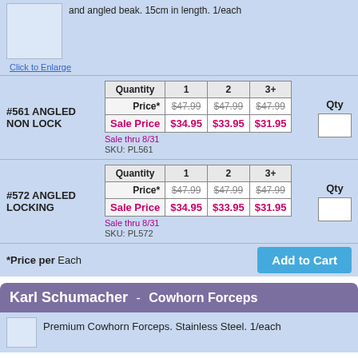and angled beak. 15cm in length. 1/each
Click to Enlarge
| Quantity | 1 | 2 | 3+ |
| --- | --- | --- | --- |
| Price* | $47.99 | $47.99 | $47.99 |
| Sale Price | $34.95 | $33.95 | $31.95 |
#561 ANGLED NON LOCK
Sale thru 8/31
SKU: PL561
| Quantity | 1 | 2 | 3+ |
| --- | --- | --- | --- |
| Price* | $47.99 | $47.99 | $47.99 |
| Sale Price | $34.95 | $33.95 | $31.95 |
#572 ANGLED LOCKING
Sale thru 8/31
SKU: PL572
*Price per Each
Karl Schumacher - Cowhorn Forceps
Premium Cowhorn Forceps. Stainless Steel. 1/each